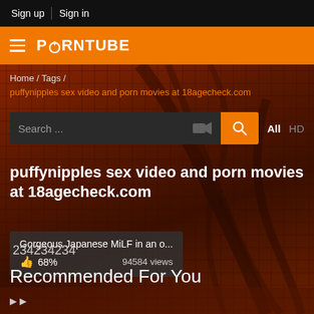Sign up | Sign in
PORNTUBE
Home / Tags /
puffynipples sex video and porn movies at 18agecheck.com
Search ...
puffynipples sex video and porn movies at 18agecheck.com
Gorgeous Japanese MiLF in an o...
68%  94584 views
234234234
Recommended For You